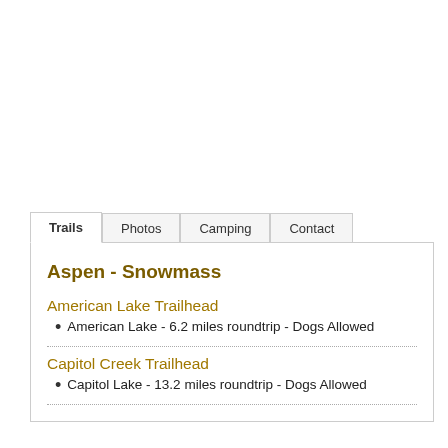Aspen - Snowmass
American Lake Trailhead
American Lake - 6.2 miles roundtrip - Dogs Allowed
Capitol Creek Trailhead
Capitol Lake - 13.2 miles roundtrip - Dogs Allowed